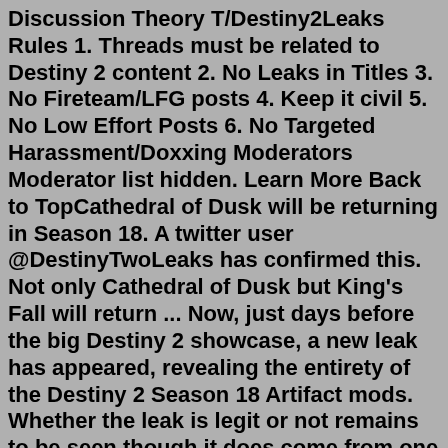Discussion Theory T/Destiny2Leaks Rules 1. Threads must be related to Destiny 2 content 2. No Leaks in Titles 3. No Fireteam/LFG posts 4. Keep it civil 5. No Low Effort Posts 6. No Targeted Harassment/Doxxing Moderators Moderator list hidden. Learn More Back to TopCathedral of Dusk will be returning in Season 18. A twitter user @DestinyTwoLeaks has confirmed this. Not only Cathedral of Dusk but King's Fall will return ... Now, just days before the big Destiny 2 showcase, a new leak has appeared, revealing the entirety of the Destiny 2 Season 18 Artifact mods. Whether the leak is legit or not remains to be seen though it does come from one of Destiny 2's most notable leakers. That said, here are all the leaked Artifact mods coming in Destiny 2 Season 18. Aug 11, 2022 · Season 18 soon arrives in Destiny 2, bringing a new but familiar raid to tackle. Here's its release date, launch time, and what you can do to prepare. ... There were also leaks in early 2022 that ... Each week in Destiny 2 a certain traveler returns to a predetermined location in order to sell exclusive